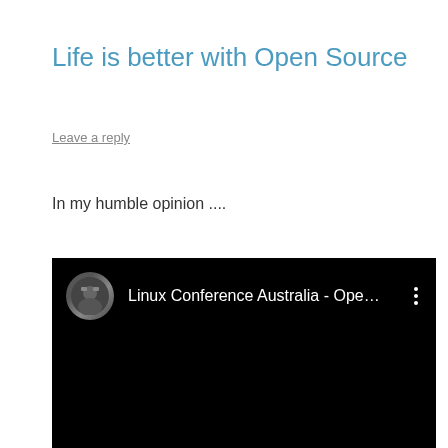Life is better with Open Source
Leave a reply
In my humble opinion ....
[Figure (screenshot): Embedded YouTube video screenshot showing a dark/black video player with a channel avatar and title 'Linux Conference Australia - Ope...' with a three-dot menu icon on the right.]